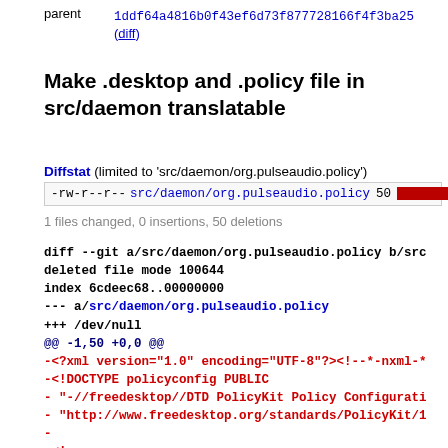parent  1ddf64a4816b0f43ef6d73f877728166f4f3ba25 (diff)
Make .desktop and .policy file in src/daemon translatable
Diffstat (limited to 'src/daemon/org.pulseaudio.policy')
| -rw-r--r-- | src/daemon/org.pulseaudio.policy | 50 | [bar] |
1 files changed, 0 insertions, 50 deletions
diff --git a/src/daemon/org.pulseaudio.policy b/src/
deleted file mode 100644
index 6cdeec68..00000000
--- a/src/daemon/org.pulseaudio.policy
+++ /dev/null
@@ -1,50 +0,0 @@
-<?xml version="1.0" encoding="UTF-8"?><!--*-nxml-*
-<!DOCTYPE policyconfig PUBLIC
- "-//freedesktop//DTD PolicyKit Policy Configurati
- "http://www.freedesktop.org/standards/PolicyKit/1
-
-<!--
-This file is part of PulseAudio.
-
-PulseAudio is free software; you can redistribute
-under the terms of the GNU Lesser General Public L
-published by the Free Software Foundation; either